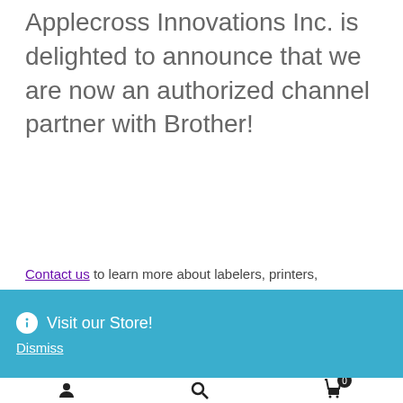Applecross Innovations Inc. is delighted to announce that we are now an authorized channel partner with Brother!
Contact us to learn more about labelers, printers, scanners, ink . . .
Share this:
Twitter  Facebook
Visit our Store!
Dismiss
user  search  cart (0)